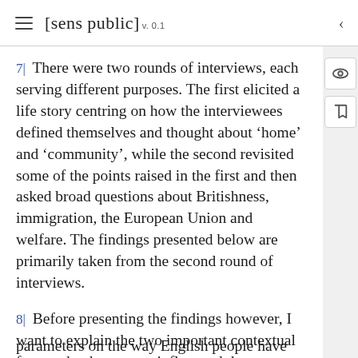[sens public] v. 0.1
7| There were two rounds of interviews, each serving different purposes. The first elicited a life story centring on how the interviewees defined themselves and thought about ‘home’ and ‘community’, while the second revisited some of the points raised in the first and then asked broad questions about Britishness, immigration, the European Union and welfare. The findings presented below are primarily taken from the second round of interviews.
8| Before presenting the findings however, I want to explain the two important contextual factors that have most influenced the parameters on the way English people have